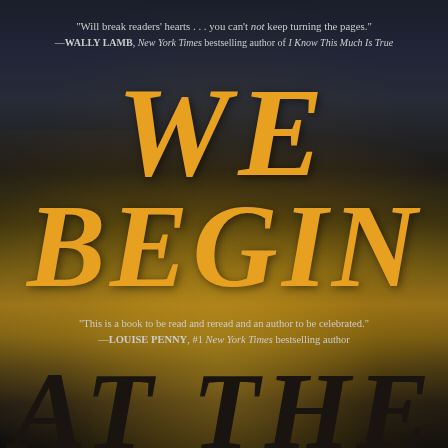[Figure (illustration): Book cover for 'We Begin at the...' with dark stormy sky background with golden/amber clouds. Large golden italic serif title text 'WE BEGIN' dominates center. Top has a blurb from Wally Lamb. Middle has a blurb from Louise Penny. Bottom shows partial text 'AT THE'. Dark navy to golden amber gradient background.]
"Will break readers' hearts . . . you can't not keep turning the pages." —WALLY LAMB, New York Times bestselling author of I Know This Much Is True
WE BEGIN
"This is a book to be read and reread and an author to be celebrated." —LOUISE PENNY, #1 New York Times bestselling author
AT THE